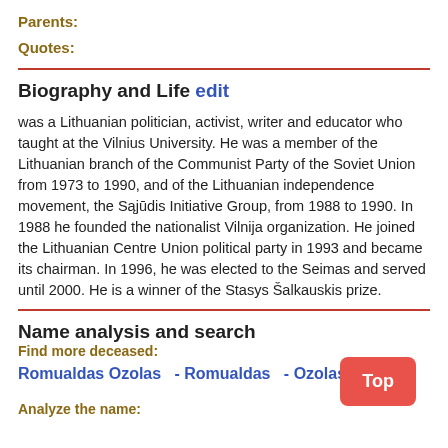Parents:
Quotes:
Biography and Life edit
was a Lithuanian politician, activist, writer and educator who taught at the Vilnius University. He was a member of the Lithuanian branch of the Communist Party of the Soviet Union from 1973 to 1990, and of the Lithuanian independence movement, the Sąjūdis Initiative Group, from 1988 to 1990. In 1988 he founded the nationalist Vilnija organization. He joined the Lithuanian Centre Union political party in 1993 and became its chairman. In 1996, he was elected to the Seimas and served until 2000. He is a winner of the Stasys Šalkauskis prize.
Name analysis and search
Find more deceased:
Romualdas Ozolas  - Romualdas  - Ozolas
Analyze the name: